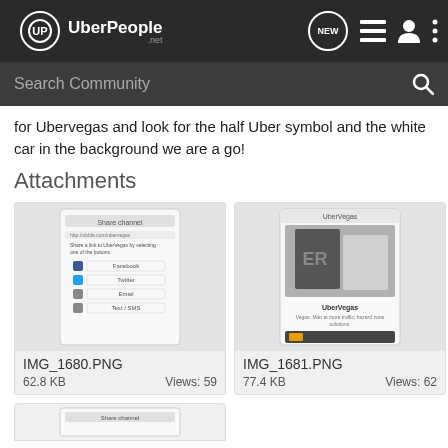UberPeople.net
for Ubervegas and look for the half Uber symbol and the white car in the background we are a go!
Attachments
[Figure (screenshot): Screenshot of a mobile app showing share options: Facebook, Twitter, Email, Text/SMS. Labeled IMG_1680.PNG]
IMG_1680.PNG
62.8 KB    Views: 59
[Figure (screenshot): Screenshot of UberVegas mobile app showing app icon with blurred car background. Labeled IMG_1681.PNG]
IMG_1681.PNG
77.4 KB    Views: 62
[Figure (screenshot): Partial screenshot at bottom of page, partially visible]